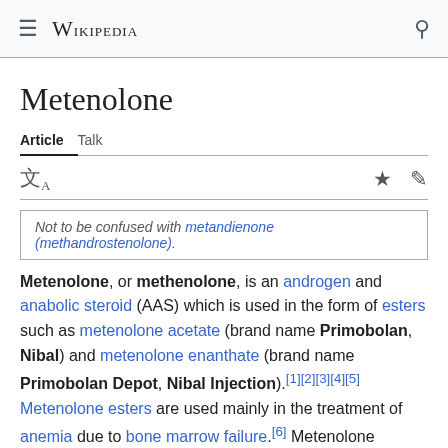Wikipedia
Metenolone
Article  Talk
Not to be confused with metandienone (methandrostenolone).
Metenolone, or methenolone, is an androgen and anabolic steroid (AAS) which is used in the form of esters such as metenolone acetate (brand name Primobolan, Nibal) and metenolone enanthate (brand name Primobolan Depot, Nibal Injection).[1][2][3][4][5] Metenolone esters are used mainly in the treatment of anemia due to bone marrow failure.[6] Metenolone acetate is taken by mouth, while metenolone enanthate is given by